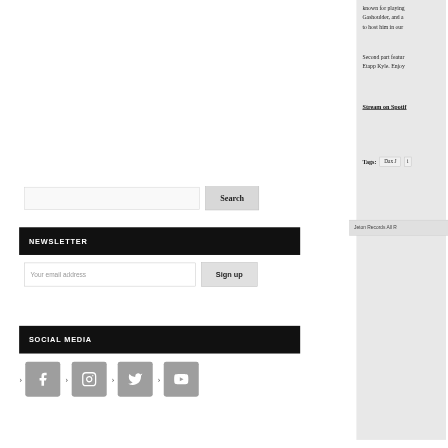known for playing Gashoulder, and a to host him in our
Second part featur Etapp Kyle. Enjoy
Stream on Spotif
Tags: Dax J i
Jeton Records All R
[Figure (other): Search input box with Search button]
NEWSLETTER
Your email address
SOCIAL MEDIA
[Figure (other): Social media icons: Facebook, Instagram, Twitter, YouTube with arrow indicators]